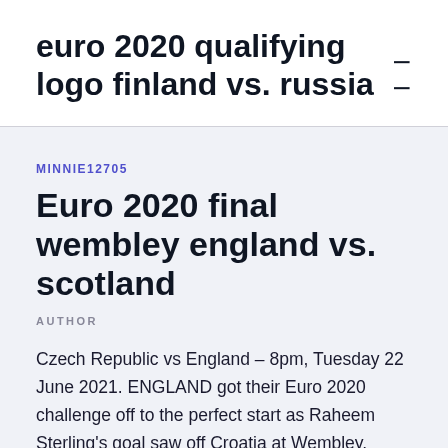euro 2020 qualifying logo finland vs. russia
MINNIE12705
Euro 2020 final wembley england vs. scotland
AUTHOR
Czech Republic vs England – 8pm, Tuesday 22 June 2021. ENGLAND got their Euro 2020 challenge off to the perfect start as Raheem Sterling's goal saw off Croatia at Wembley.